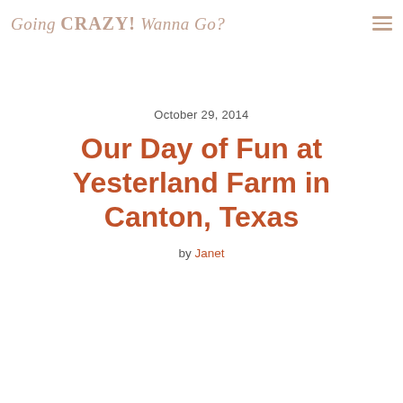Going CRAZY! Wanna Go?
October 29, 2014
Our Day of Fun at Yesterland Farm in Canton, Texas
by Janet